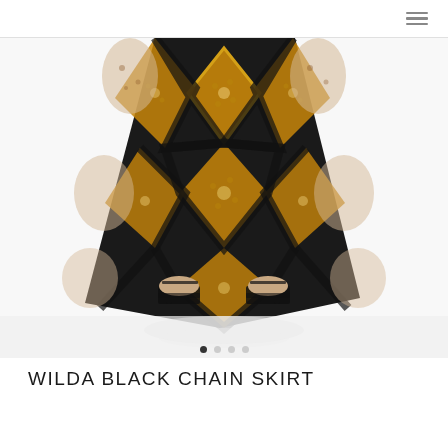navigation icons: user, bag, menu
[Figure (photo): A model wearing a Wilda Black Chain Skirt — a flared maxi skirt with bold black, gold/amber, and beige leopard-chain print pattern. The model is shown from waist down wearing black open-toe sandals on a white background. Carousel navigation dots below the image.]
WILDA BLACK CHAIN SKIRT